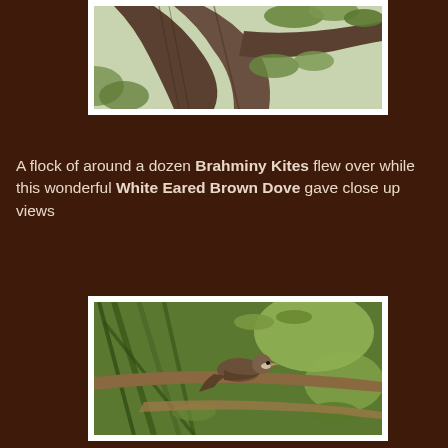[Figure (photo): Partial view of a tree trunk and branches with green foliage, cropped at top of page]
A flock of around a dozen Brahminy Kites flew over while this wonderful White Eared Brown Dove gave close up views
[Figure (photo): A White Eared Brown Dove perched on a branch surrounded by green leaves and bamboo-like stems]